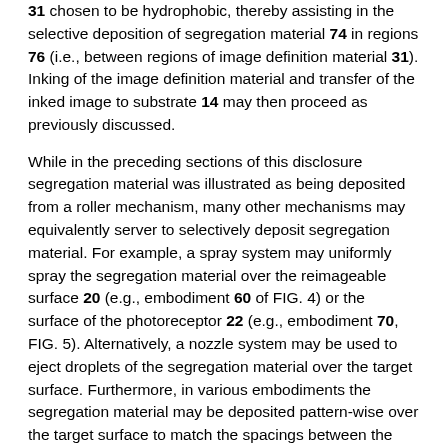31 chosen to be hydrophobic, thereby assisting in the selective deposition of segregation material 74 in regions 76 (i.e., between regions of image definition material 31). Inking of the image definition material and transfer of the inked image to substrate 14 may then proceed as previously discussed.
While in the preceding sections of this disclosure segregation material was illustrated as being deposited from a roller mechanism, many other mechanisms may equivalently server to selectively deposit segregation material. For example, a spray system may uniformly spray the segregation material over the reimageable surface 20 (e.g., embodiment 60 of FIG. 4) or the surface of the photoreceptor 22 (e.g., embodiment 70, FIG. 5). Alternatively, a nozzle system may be used to eject droplets of the segregation material over the target surface. Furthermore, in various embodiments the segregation material may be deposited pattern-wise over the target surface to match the spacings between the pattern of image forming material formed by image forming material subsystem 28 (e.g., selective droplet ejection similar to ink-jet printing). It will therefore be apparent that the segregation material may be deposited by